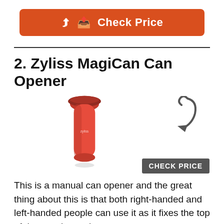[Figure (other): Orange/red 'Check Price' button with share icon]
2. Zyliss MagiCan Can Opener
[Figure (photo): Red Zyliss MagiCan Can Opener product photo with a curved arrow pointing to a dark grey 'CHECK PRICE' label]
This is a manual can opener and the great thing about this is that both right-handed and left-handed people can use it as it fixes the top of the can, it may be